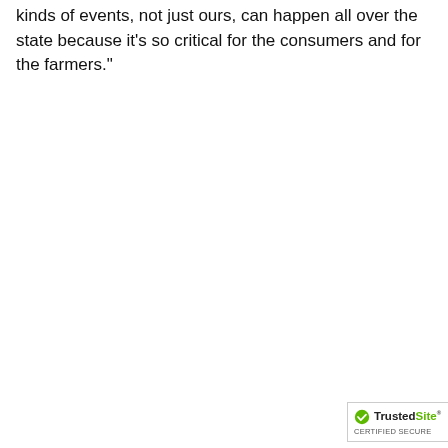kinds of events, not just ours, can happen all over the state because it's so critical for the consumers and for the farmers."
[Figure (logo): TrustedSite Certified Secure badge — white background with green checkmark icon and 'TrustedSite' text, 'CERTIFIED SECURE' below]